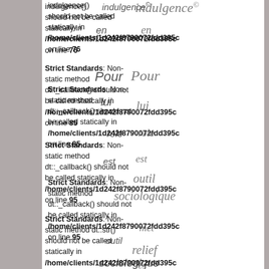indulgence() should not be called statically in /home/clients/1d242f8790072fdd395c on line 76
Strict Standards: Non-static method dt::_callback() should not be called statically in /home/clients/1d242f8790072fdd395c on line 85
Strict Standards: Non-static method dt::_callback() should not be called statically in /home/clients/1d242f8790072fdd395c on line 95
Strict Standards: Non-static method dt::str() should not be called statically in /home/clients/1d242f8790072fdd395c on line 76
Strict Standards: Non-static method dt::_callback() should not be called statically in /home/clients/1d242f8790072fdd395c on line 35